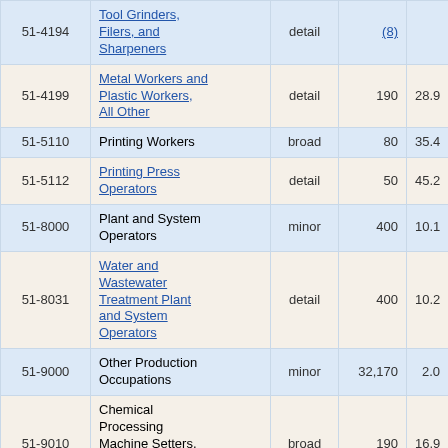| Code | Occupation | Level | Employment | % Change |
| --- | --- | --- | --- | --- |
| 51-4194 | Tool Grinders, Filers, and Sharpeners | detail | (8) |  |
| 51-4199 | Metal Workers and Plastic Workers, All Other | detail | 190 | 28.9 |
| 51-5110 | Printing Workers | broad | 80 | 35.4 |
| 51-5112 | Printing Press Operators | detail | 50 | 45.2 |
| 51-8000 | Plant and System Operators | minor | 400 | 10.1 |
| 51-8031 | Water and Wastewater Treatment Plant and System Operators | detail | 400 | 10.2 |
| 51-9000 | Other Production Occupations | minor | 32,170 | 2.0 |
| 51-9010 | Chemical Processing Machine Setters, Operators, and Tenders | broad | 190 | 16.9 |
| 51-9011 | Chemical... | detail |  |  |